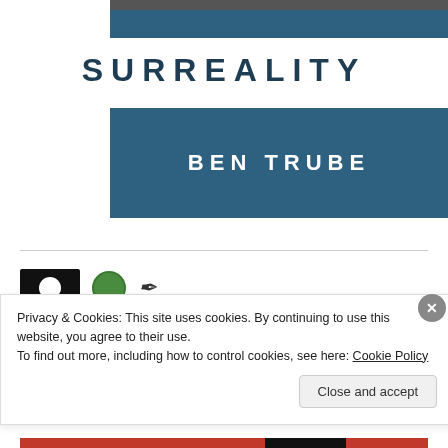[Figure (illustration): Book cover image showing dark photo strip at top, teal banner, large letter-spaced title SURREALITY, teal author banner with BEN TRUBE]
SURREALITY
BEN TRUBE
[Figure (illustration): Social/icon row with black icon box containing white circle, green circle icon, feather pen icon]
Privacy & Cookies: This site uses cookies. By continuing to use this website, you agree to their use.
To find out more, including how to control cookies, see here: Cookie Policy
Close and accept